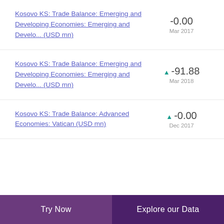Kosovo KS: Trade Balance: Emerging and Developing Economies: Emerging and Develo... (USD mn)
Kosovo KS: Trade Balance: Emerging and Developing Economies: Emerging and Develo... (USD mn)
Kosovo KS: Trade Balance: Advanced Economies: Vatican (USD mn)
Try Now | Explore our Data